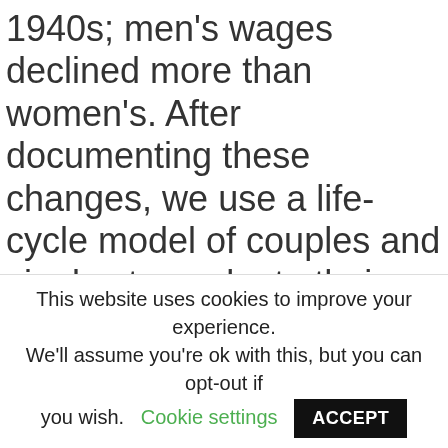1940s; men's wages declined more than women's. After documenting these changes, we use a life-cycle model of couples and singles to evaluate their effects. The drop in … Read more
Journal Article
Sources of U.S. wealth
This website uses cookies to improve your experience. We'll assume you're ok with this, but you can opt-out if you wish. Cookie settings ACCEPT